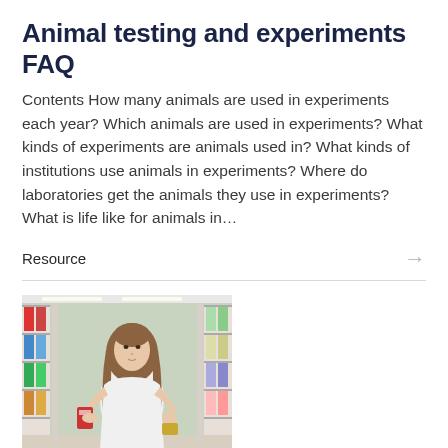Animal testing and experiments FAQ
Contents How many animals are used in experiments each year? Which animals are used in experiments? What kinds of experiments are animals used in? What kinds of institutions use animals in experiments? Where do laboratories get the animals they use in experiments? What is life like for animals in…
Resource
[Figure (photo): A young woman with long wavy hair in a white top, standing in a store aisle reading a product label, shelves of products behind her.]